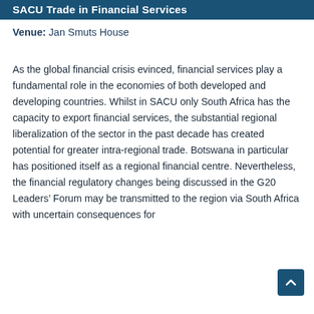SACU Trade in Financial Services
Venue: Jan Smuts House
As the global financial crisis evinced, financial services play a fundamental role in the economies of both developed and developing countries. Whilst in SACU only South Africa has the capacity to export financial services, the substantial regional liberalization of the sector in the past decade has created potential for greater intra-regional trade. Botswana in particular has positioned itself as a regional financial centre. Nevertheless, the financial regulatory changes being discussed in the G20 Leaders’ Forum may be transmitted to the region via South Africa with uncertain consequences for